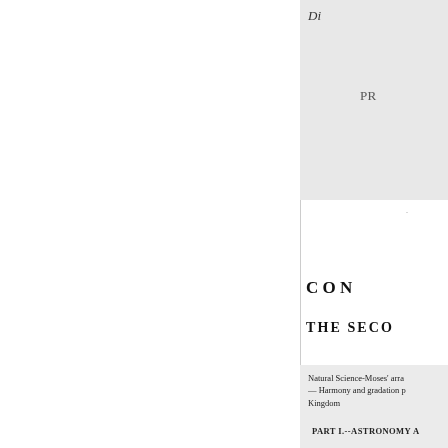Di
PR
CON
THE SECO
Natural Science-Moses' arra — Harmony and gradation Kingdom
PART I.--ASTRONOMY A